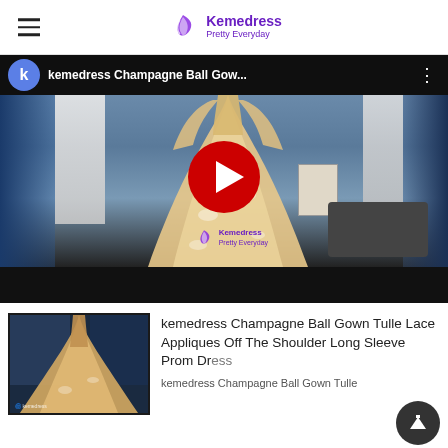Kemedress Pretty Everyday
[Figure (screenshot): YouTube video thumbnail showing a woman in a champagne ball gown tulle dress with long sleeves and lace appliques. The video title bar reads 'kemedress Champagne Ball Gow...' with the Kemedress logo watermark visible on the video. A red YouTube play button is centered on the video. Black bar at bottom.]
[Figure (photo): Thumbnail image of champagne ball gown dress in darkened room setting]
kemedress Champagne Ball Gown Tulle Lace Appliques Off The Shoulder Long Sleeve Prom Dress
kemedress Champagne Ball Gown Tulle